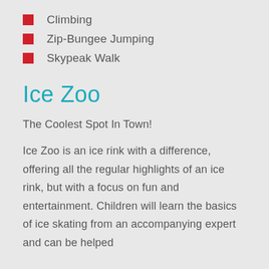Climbing
Zip-Bungee Jumping
Skypeak Walk
Ice Zoo
The Coolest Spot In Town!
Ice Zoo is an ice rink with a difference, offering all the regular highlights of an ice rink, but with a focus on fun and entertainment. Children will learn the basics of ice skating from an accompanying expert and can be helped